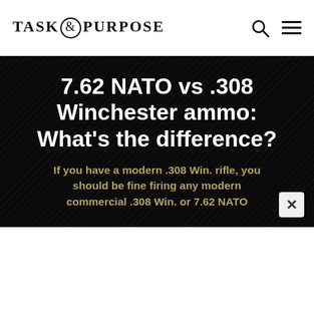TASK & PURPOSE
7.62 NATO vs .308 Winchester ammo: What's the difference?
If you have a modern .308 Win. rifle, you should be fine firing any modern commercial .308 Win. or 7.62 NATO